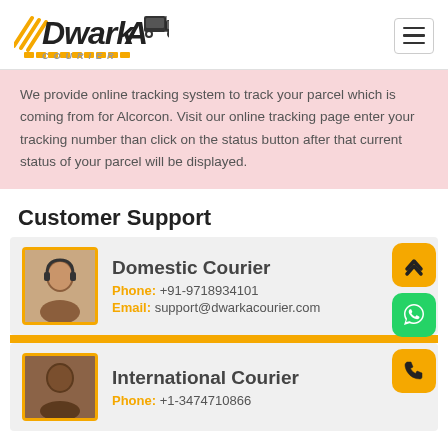[Figure (logo): Dwarka Courier logo with truck icon and yellow stripes]
We provide online tracking system to track your parcel which is coming from for Alcorcon. Visit our online tracking page enter your tracking number than click on the status button after that current status of your parcel will be displayed.
Customer Support
Domestic Courier
Phone: +91-9718934101
Email: support@dwarkacourier.com
International Courier
Phone: +1-3474710866